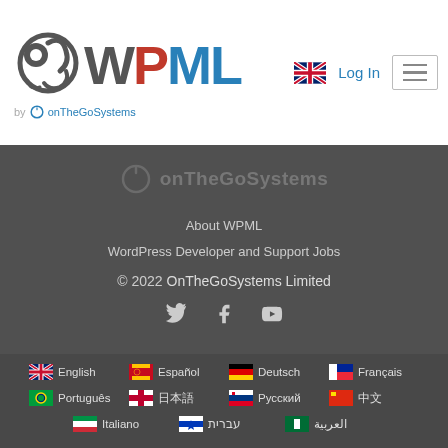[Figure (logo): WPML logo with circular icon and text 'WPML by onTheGoSystems', plus UK flag, Log In link, and hamburger menu button in white header]
[Figure (logo): onTheGoSystems logo (power button icon + text) in dark gray footer area]
About WPML
WordPress Developer and Support Jobs
© 2022 OnTheGoSystems Limited
[Figure (infographic): Social media icons: Twitter bird, Facebook f, YouTube play button]
[Figure (infographic): Language switcher grid: English (UK flag), Español (Spain flag), Deutsch (Germany flag), Français (France flag), Português (Brazil flag), 日本語 (Japan flag), Русский (Russia flag), 中文 (China flag), Italiano (Italy flag), עברית (Israel flag), العربية (Saudi Arabia flag)]